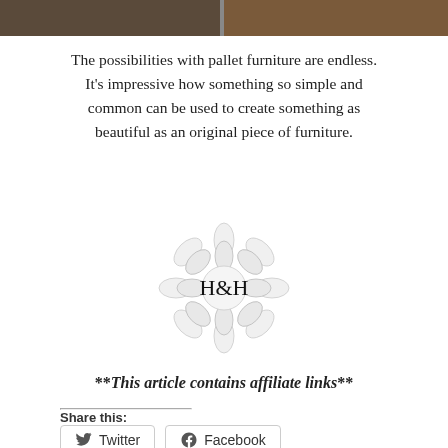[Figure (photo): Two cropped photos of wooden pallet furniture at the top of the page]
The possibilities with pallet furniture are endless. It's impressive how something so simple and common can be used to create something as beautiful as an original piece of furniture.
[Figure (logo): H&H logo with succulent flower illustration in grey, script text 'H&H' in center]
**This article contains affiliate links**
Share this:
Twitter
Facebook